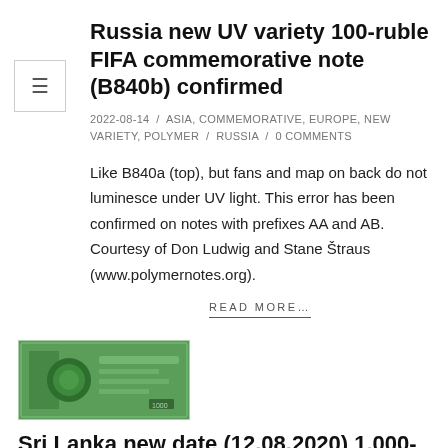Russia new UV variety 100-ruble FIFA commemorative note (B840b) confirmed
2022-08-14 / ASIA, COMMEMORATIVE, EUROPE, NEW VARIETY, POLYMER / RUSSIA / 0 COMMENTS
Like B840a (top), but fans and map on back do not luminesce under UV light. This error has been confirmed on notes with prefixes AA and AB. Courtesy of Don Ludwig and Stane Štraus (www.polymernotes.org).
READ MORE…
[Figure (photo): Thumbnail image of a Sri Lanka banknote, green colored 1000-rupee note]
Sri Lanka new date (12.08.2020) 1,000-